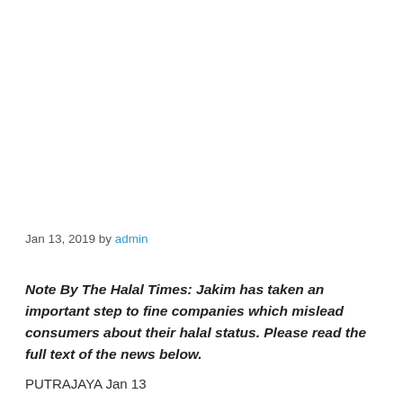Jan 13, 2019 by admin
Note By The Halal Times: Jakim has taken an important step to fine companies which mislead consumers about their halal status. Please read the full text of the news below.
PUTRAJAYA Jan 13 ...